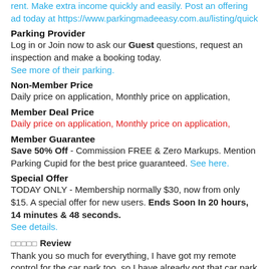rent. Make extra income quickly and easily. Post an offering ad today at https://www.parkingmadeeasy.com.au/listing/quick
Parking Provider
Log in or Join now to ask our Guest questions, request an inspection and make a booking today. See more of their parking.
Non-Member Price
Daily price on application, Monthly price on application,
Member Deal Price
Daily price on application, Monthly price on application,
Member Guarantee
Save 50% Off - Commission FREE & Zero Markups. Mention Parking Cupid for the best price guaranteed. See here.
Special Offer
TODAY ONLY - Membership normally $30, now from only $15. A special offer for new users. Ends Soon In 20 hours, 14 minutes & 48 seconds. See details.
★★★★★ Review
Thank you so much for everything, I have got my remote control for the car park too, so I have already got that car park space, thank you so